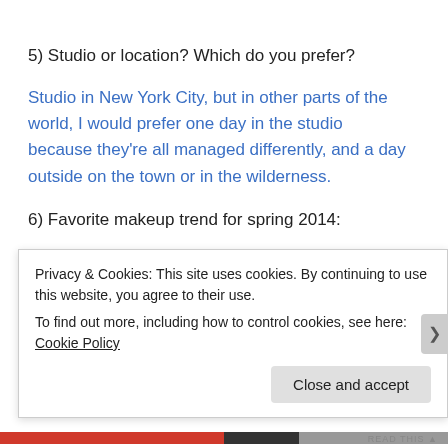5) Studio or location? Which do you prefer?
Studio in New York City, but in other parts of the world, I would prefer one day in the studio   because they're all managed differently, and a day outside on the town or in the wilderness.
6) Favorite makeup trend for spring 2014:
Lip Stains and Face & Eye Brighteners
Privacy & Cookies: This site uses cookies. By continuing to use this website, you agree to their use.
To find out more, including how to control cookies, see here: Cookie Policy
Close and accept